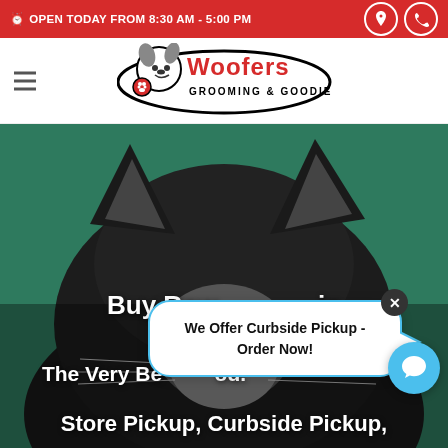OPEN TODAY FROM 8:30 AM - 5:00 PM
[Figure (logo): Woofers Grooming & Goodies logo with cartoon dog]
[Figure (photo): Black and white cat photographed from above against green background, with overlay text: Buy Raw... in / The Very Be...od. / Store Pickup, Curbside Pickup. A popup bubble reads: We Offer Curbside Pickup - Order Now!]